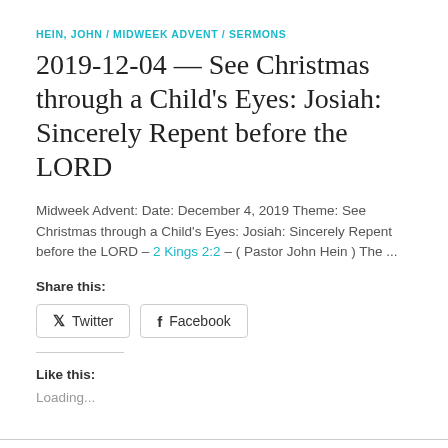HEIN, JOHN / MIDWEEK ADVENT / SERMONS
2019-12-04 — See Christmas through a Child's Eyes: Josiah: Sincerely Repent before the LORD
Midweek Advent: Date: December 4, 2019 Theme: See Christmas through a Child's Eyes: Josiah: Sincerely Repent before the LORD – 2 Kings 2:2 – ( Pastor John Hein ) The ...
Share this:
Twitter  Facebook
Like this:
Loading...